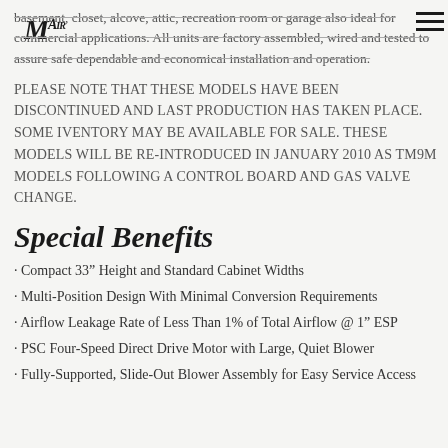MAir
basement, closet, alcove, attic, recreation room or garage also ideal for commercial applications. All units are factory assembled, wired and tested to assure safe dependable and economical installation and operation.
PLEASE NOTE THAT THESE MODELS HAVE BEEN DISCONTINUED AND LAST PRODUCTION HAS TAKEN PLACE. SOME IVENTORY MAY BE AVAILABLE FOR SALE. THESE MODELS WILL BE RE-INTRODUCED IN JANUARY 2010 AS TM9M MODELS FOLLOWING A CONTROL BOARD AND GAS VALVE CHANGE.
Special Benefits
· Compact 33" Height and Standard Cabinet Widths
· Multi-Position Design With Minimal Conversion Requirements
· Airflow Leakage Rate of Less Than 1% of Total Airflow @ 1" ESP
· PSC Four-Speed Direct Drive Motor with Large, Quiet Blower
· Fully-Supported, Slide-Out Blower Assembly for Easy Service Access